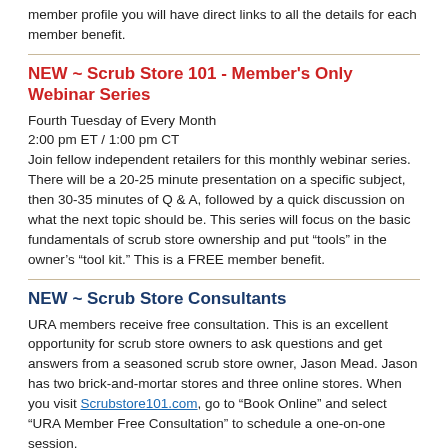member profile you will have direct links to all the details for each member benefit.
NEW ~ Scrub Store 101 - Member's Only Webinar Series
Fourth Tuesday of Every Month
2:00 pm ET / 1:00 pm CT
Join fellow independent retailers for this monthly webinar series. There will be a 20-25 minute presentation on a specific subject, then 30-35 minutes of Q & A, followed by a quick discussion on what the next topic should be. This series will focus on the basic fundamentals of scrub store ownership and put “tools” in the owner’s “tool kit.” This is a FREE member benefit.
NEW ~ Scrub Store Consultants
URA members receive free consultation. This is an excellent opportunity for scrub store owners to ask questions and get answers from a seasoned scrub store owner, Jason Mead. Jason has two brick-and-mortar stores and three online stores. When you visit Scrubstore101.com, go to “Book Online” and select “URA Member Free Consultation” to schedule a one-on-one session.
Scrubstore101.com is also looking for other scrub store owners who would like to become mentors to newer store owners. Plus, the site will become a knowledge base to include tools, ideas, and